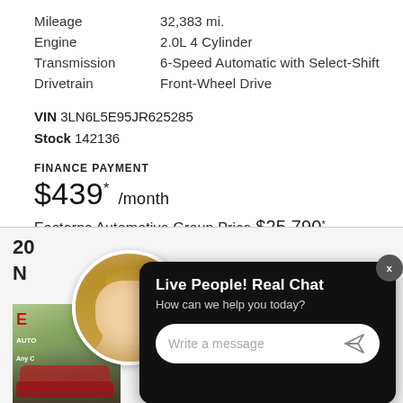| Mileage | 32,383 mi. |
| Engine | 2.0L 4 Cylinder |
| Transmission | 6-Speed Automatic with Select-Shift |
| Drivetrain | Front-Wheel Drive |
VIN 3LN6L5E95JR625285
Stock 142136
FINANCE PAYMENT
$439* /month
Easterns Automotive Group Price $25,790*
[Figure (photo): Live chat popup overlay with woman avatar, chat title 'Live People! Real Chat', subtitle 'How can we help you today?', and message input field]